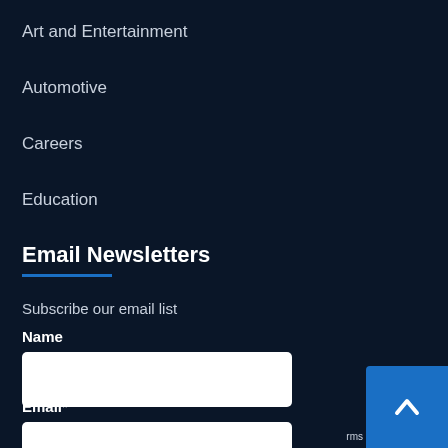Art and Entertainment
Automotive
Careers
Education
Email Newsletters
Subscribe our email list
Name
Email*